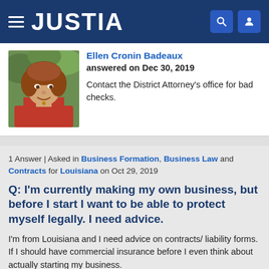JUSTIA
[Figure (photo): Headshot photo of Ellen Cronin Badeaux, a woman with reddish-brown hair wearing a red blazer, smiling, outdoors with green foliage background]
Ellen Cronin Badeaux
answered on Dec 30, 2019

Contact the District Attorney's office for bad checks.
1 Answer | Asked in Business Formation, Business Law and Contracts for Louisiana on Oct 29, 2019
Q: I'm currently making my own business, but before I start I want to be able to protect myself legally. I need advice.
I'm from Louisiana and I need advice on contracts/ liability forms. If I should have commercial insurance before I even think about actually starting my business.